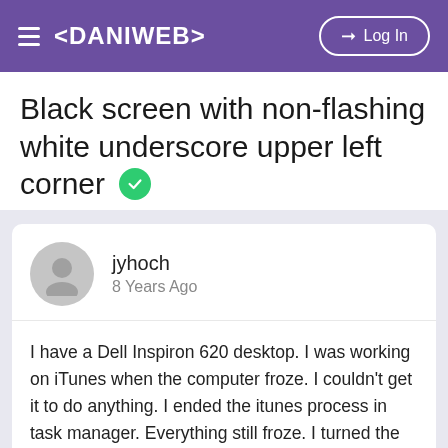< DANIWEB > Log In
Black screen with non-flashing white underscore upper left corner ✓
« Hardware Forum
jyhoch
8 Years Ago
I have a Dell Inspiron 620 desktop. I was working on iTunes when the computer froze. I couldn't get it to do anything. I ended the itunes process in task manager. Everything still froze. I turned the computer off for a bit. Turned it back on and all that came up was a black screen with a solid white dash in the upper left corner. The fans are running, sounds